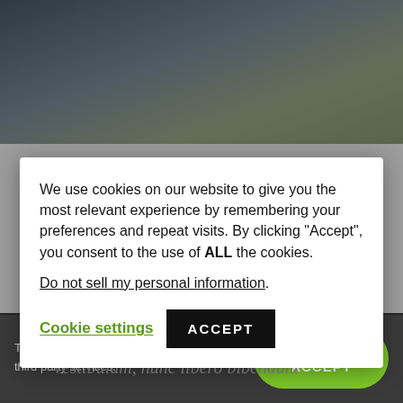[Figure (photo): Partial view of people, background blurred, shown at top of page behind cookie consent overlay]
Work to live, don't live to
We use cookies on our website to give you the most relevant experience by remembering your preferences and repeat visits. By clicking “Accept”, you consent to the use of ALL the cookies.
Do not sell my personal information.
Cookie settings
ACCEPT
porttitor, elit vitae scelerisque
vestibulum, nunc libero bibendum
This website uses cookies and third party services.
OK TO ACCEPT